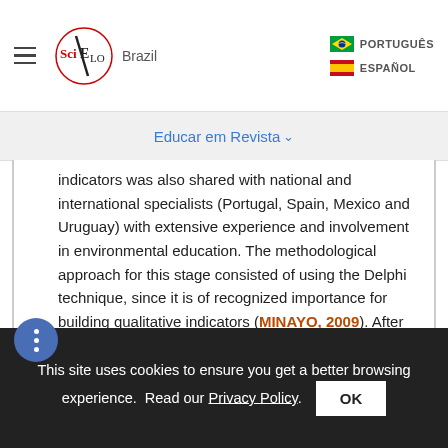SciELO Brazil | PORTUGUÊS | ESPAÑOL
Educar em Revista
indicators was also shared with national and international specialists (Portugal, Spain, Mexico and Uruguay) with extensive experience and involvement in environmental education. The methodological approach for this stage consisted of using the Delphi technique, since it is of recognized importance for building qualitative indicators (MINAYO, 2009). After the specialists' feedback, the evaluations were systematized analytically both quantitatively (tabulating the frequency of answers responses for each indicator), and also qualitatively (analysis of the
This site uses cookies to ensure you get a better browsing experience. Read our Privacy Policy.